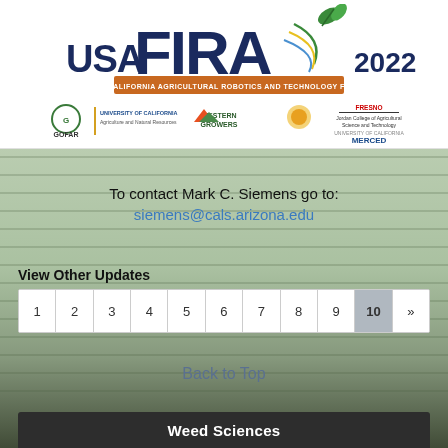[Figure (logo): USA FIRA 2022 - The California Agricultural Robotics and Technology Forum logo with partner logos: GOFAR, University of California Agriculture and Natural Resources, Western Growers, and Fresno State / UC Merced]
To contact Mark C. Siemens go to:
siemens@cals.arizona.edu
View Other Updates
1 2 3 4 5 6 7 8 9 10 »
Back to Top
Weed Sciences